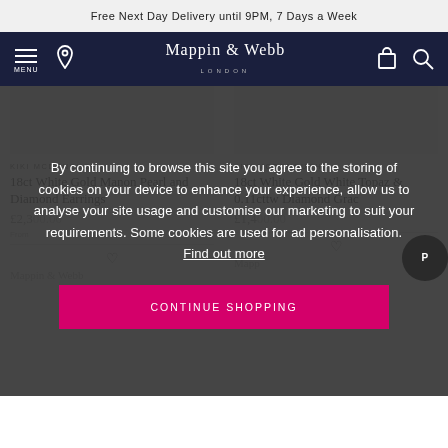Free Next Day Delivery until 9PM, 7 Days a Week
[Figure (screenshot): Mappin & Webb navigation bar with menu, location, logo, bag, and search icons on dark navy background]
KIKI MCDONOUGH
18ct White Gold Manon Pearl and Diamond Earrings
£2,300.00
KIKI MCDONOUGH
18ct White Gold White Topaz & 0.11cttw Diamond Grac
£1,400.00
By continuing to browse this site you agree to the storing of cookies on your device to enhance your experience, allow us to analyse your site usage and customise our marketing to suit your requirements. Some cookies are used for ad personalisation. Find out more
CONTINUE SHOPPING
Mappin & Webb
Mapp